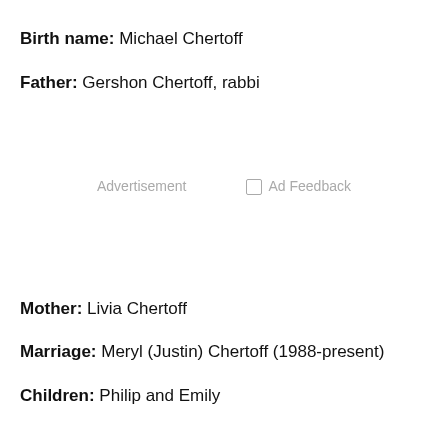Birth name: Michael Chertoff
Father: Gershon Chertoff, rabbi
Advertisement   □ Ad Feedback
Mother: Livia Chertoff
Marriage: Meryl (Justin) Chertoff (1988-present)
Children: Philip and Emily